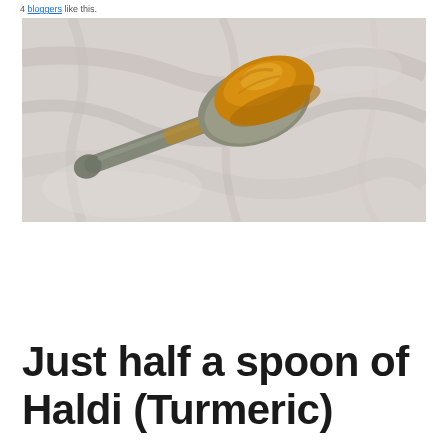4 bloggers like this.
[Figure (photo): A metal spoon with a heaped mound of bright orange-yellow turmeric (haldi) powder on a white marble surface.]
Just half a spoon of Haldi (Turmeric)